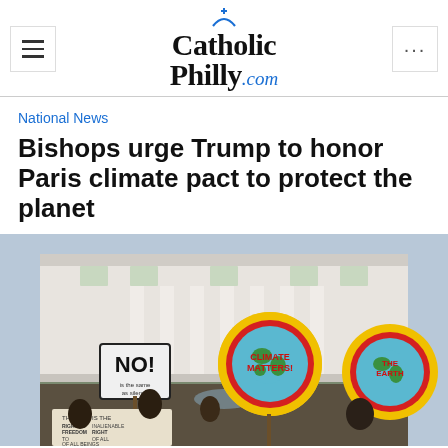CatholicPhilly.com
National News
Bishops urge Trump to honor Paris climate pact to protect the planet
[Figure (photo): Protesters outside the White House holding signs reading 'NO!', 'CLIMATE MATTERS!' and 'THE EARTH' on circular globe-themed signs with red and yellow sunburst patterns.]